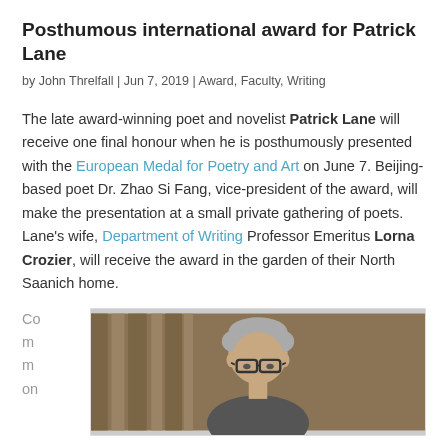Posthumous international award for Patrick Lane
by John Threlfall | Jun 7, 2019 | Award, Faculty, Writing
The late award-winning poet and novelist Patrick Lane will receive one final honour when he is posthumously presented with the European Medal for Poetry and Art on June 7. Beijing-based poet Dr. Zhao Si Fang, vice-president of the award, will make the presentation at a small private gathering of poets. Lane's wife, Department of Writing Professor Emeritus Lorna Crozier, will receive the award in the garden of their North Saanich home.
Co
m
m
on
[Figure (photo): Portrait photo of Patrick Lane, an older man with glasses and grey hair, in front of a wooden background.]